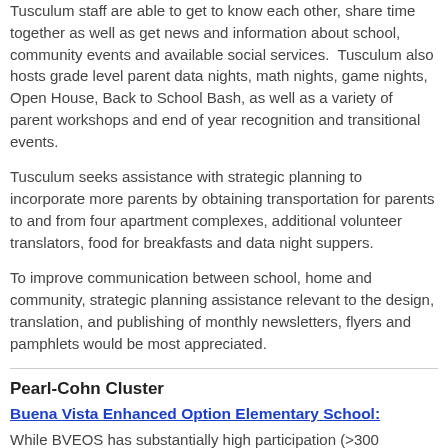Tusculum staff are able to get to know each other, share time together as well as get news and information about school, community events and available social services. Tusculum also hosts grade level parent data nights, math nights, game nights, Open House, Back to School Bash, as well as a variety of parent workshops and end of year recognition and transitional events.
Tusculum seeks assistance with strategic planning to incorporate more parents by obtaining transportation for parents to and from four apartment complexes, additional volunteer translators, food for breakfasts and data night suppers.
To improve communication between school, home and community, strategic planning assistance relevant to the design, translation, and publishing of monthly newsletters, flyers and pamphlets would be most appreciated.
Pearl-Cohn Cluster
Buena Vista Enhanced Option Elementary School:
While BVEOS has substantially high participation (>300